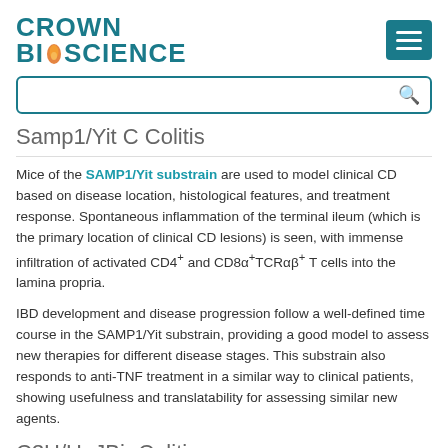Crown Bioscience
Samp1/Yit C Colitis
Mice of the SAMP1/Yit substrain are used to model clinical CD based on disease location, histological features, and treatment response. Spontaneous inflammation of the terminal ileum (which is the primary location of clinical CD lesions) is seen, with immense infiltration of activated CD4+ and CD8α+TCRαβ+ T cells into the lamina propria.
IBD development and disease progression follow a well-defined time course in the SAMP1/Yit substrain, providing a good model to assess new therapies for different disease stages. This substrain also responds to anti-TNF treatment in a similar way to clinical patients, showing usefulness and translatability for assessing similar new agents.
C3H/HeJBir Colitis